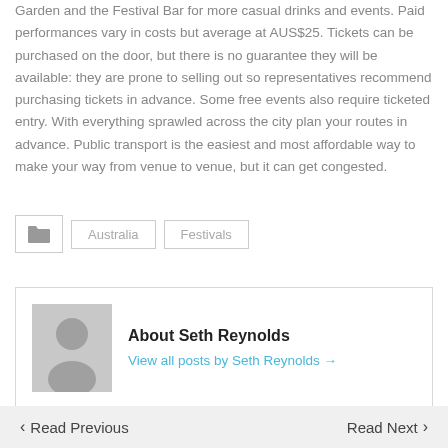Garden and the Festival Bar for more casual drinks and events. Paid performances vary in costs but average at AUS$25. Tickets can be purchased on the door, but there is no guarantee they will be available: they are prone to selling out so representatives recommend purchasing tickets in advance. Some free events also require ticketed entry. With everything sprawled across the city plan your routes in advance. Public transport is the easiest and most affordable way to make your way from venue to venue, but it can get congested.
Australia
Festivals
About Seth Reynolds
View all posts by Seth Reynolds →
Read Previous
Read Next